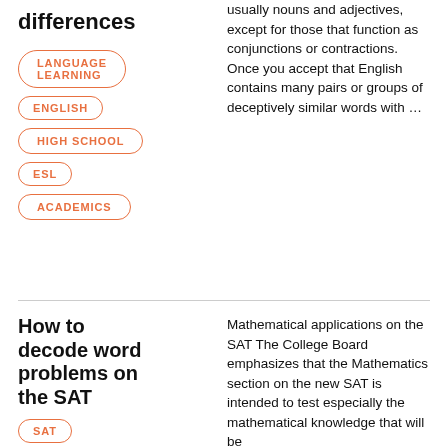differences
LANGUAGE LEARNING
ENGLISH
HIGH SCHOOL
ESL
ACADEMICS
usually nouns and adjectives, except for those that function as conjunctions or contractions. Once you accept that English contains many pairs or groups of deceptively similar words with …
How to decode word problems on the SAT
SAT
Mathematical applications on the SAT The College Board emphasizes that the Mathematics section on the new SAT is intended to test especially the mathematical knowledge that will be